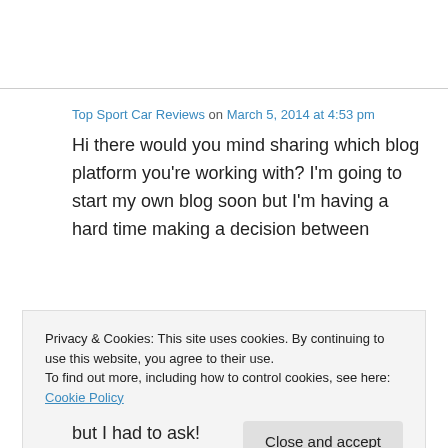Top Sport Car Reviews on March 5, 2014 at 4:53 pm
Hi there would you mind sharing which blog platform you’re working with? I’m going to start my own blog soon but I’m having a hard time making a decision between
Privacy & Cookies: This site uses cookies. By continuing to use this website, you agree to their use.
To find out more, including how to control cookies, see here: Cookie Policy
but I had to ask!